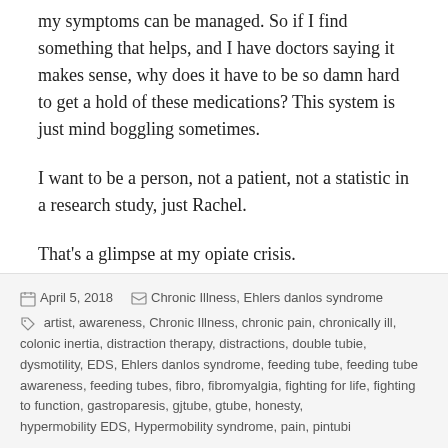my symptoms can be managed. So if I find something that helps, and I have doctors saying it makes sense, why does it have to be so damn hard to get a hold of these medications? This system is just mind boggling sometimes.
I want to be a person, not a patient, not a statistic in a research study, just Rachel.
That's a glimpse at my opiate crisis.
April 5, 2018   Chronic Illness, Ehlers danlos syndrome   artist, awareness, Chronic Illness, chronic pain, chronically ill, colonic inertia, distraction therapy, distractions, double tubie, dysmotility, EDS, Ehlers danlos syndrome, feeding tube, feeding tube awareness, feeding tubes, fibro, fibromyalgia, fighting for life, fighting to function, gastroparesis, gjtube, gtube, honesty, hypermobility EDS, Hypermobility syndrome, pain, pintubi